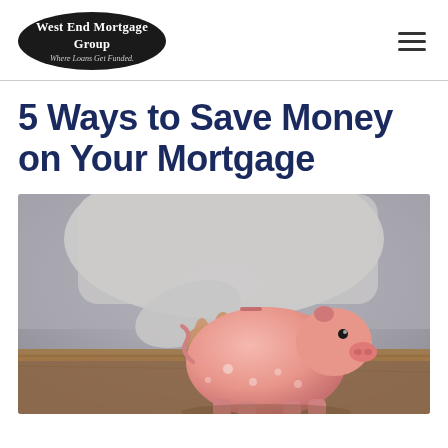West End Mortgage Group — Where Loans Get Funded.
5 Ways to Save Money on Your Mortgage
[Figure (photo): Person in grey sweater inserting a coin into a pink piggy bank on a wooden table, photographed from close up with a blurred background.]